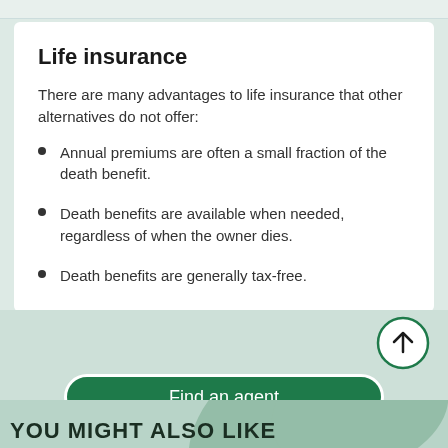Life insurance
There are many advantages to life insurance that other alternatives do not offer:
Annual premiums are often a small fraction of the death benefit.
Death benefits are available when needed, regardless of when the owner dies.
Death benefits are generally tax-free.
[Figure (other): Scroll-to-top circular button with upward arrow in dark green]
Find an agent
YOU MIGHT ALSO LIKE